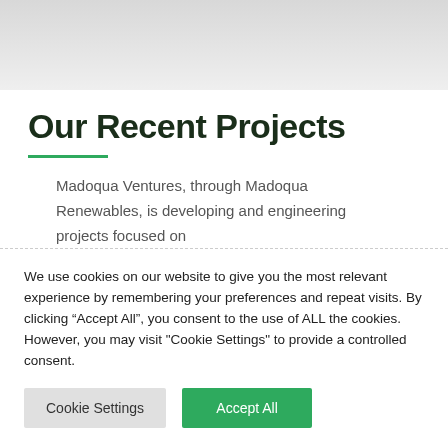Our Recent Projects
Madoqua Ventures, through Madoqua Renewables, is developing and engineering projects focused on
We use cookies on our website to give you the most relevant experience by remembering your preferences and repeat visits. By clicking “Accept All”, you consent to the use of ALL the cookies. However, you may visit "Cookie Settings" to provide a controlled consent.